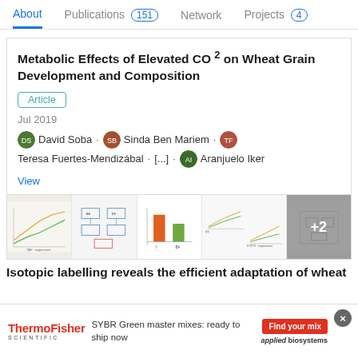About  Publications 151  Network  Projects 4
Metabolic Effects of Elevated CO 2 on Wheat Grain Development and Composition
Article
Jul 2019
David Soba · Sinda Ben Mariem · Teresa Fuertes-Mendizábal · [...] · Aranjuelo Iker
View
[Figure (screenshot): Strip of small scientific figures/charts from the publication, with a +2 overlay on the last thumbnail]
Isotopic labelling reveals the efficient adaptation of wheat
[Figure (infographic): ThermoFisher Scientific advertisement banner: SYBR Green master mixes: ready to ship now, Find your mix, applied biosystems]